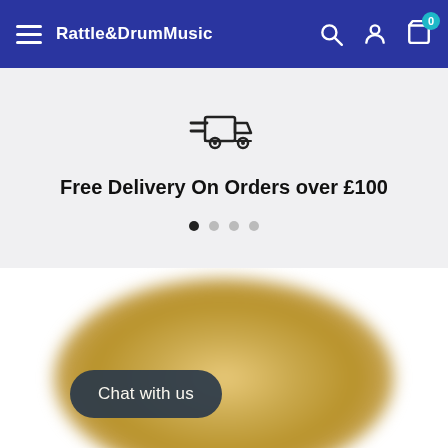Rattle&DrumMusic — navigation bar with menu, search, account, and cart (0 items)
[Figure (illustration): Fast delivery truck icon (outline style with speed lines) on a light grey banner background]
Free Delivery On Orders over £100
[Figure (illustration): Carousel pagination dots: one filled black (active), three grey]
[Figure (photo): Blurred photograph of a brass cymbal from above, partially visible at the bottom of the page]
Chat with us